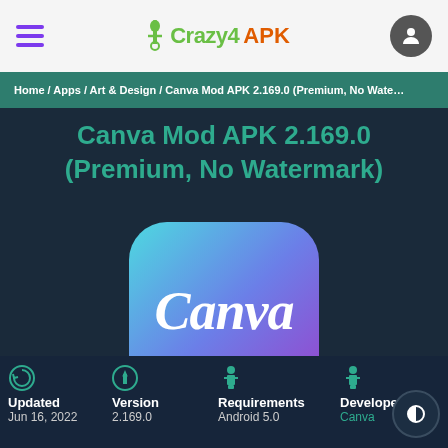Crazy4APK — hamburger menu, logo, user avatar
Home / Apps / Art & Design / Canva Mod APK 2.169.0 (Premium, No Wate…
Canva Mod APK 2.169.0 (Premium, No Watermark)
[Figure (logo): Canva app icon with gradient background (cyan to purple) and white cursive Canva wordmark]
Updated
Jun 16, 2022
Version
2.169.0
Requirements
Android 5.0
Developer
Canva